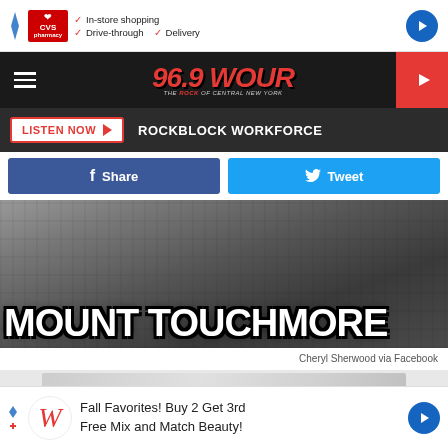[Figure (screenshot): CVS Pharmacy advertisement banner with checkmarks for In-store shopping, Drive-through, and Delivery]
[Figure (screenshot): 96.9 WOUR radio station navigation bar with hamburger menu, station logo, and play button]
LISTEN NOW  ROCKBLOCK WORKFORCE
Share    Tweet
[Figure (photo): Mount Rushmore style photo in black and white with large text overlay reading MOUNT TOUCHMORE]
Cheryl Sherwood via Facebook
[Figure (photo): Partial second image below the main photo]
[Figure (screenshot): Walgreens advertisement: Fall Favorites! Buy 2 Get 3rd Free Mix and Match Beauty!]